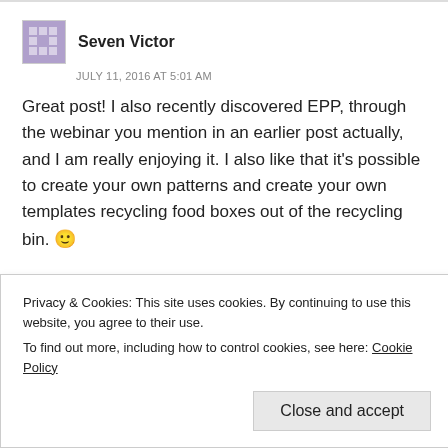Seven Victor
JULY 11, 2016 AT 5:01 AM
Great post! I also recently discovered EPP, through the webinar you mention in an earlier post actually, and I am really enjoying it. I also like that it’s possible to create your own patterns and create your own templates recycling food boxes out of the recycling bin. 🙂
Liked by 1 person
REPLY
Privacy & Cookies: This site uses cookies. By continuing to use this website, you agree to their use.
To find out more, including how to control cookies, see here: Cookie Policy
Close and accept